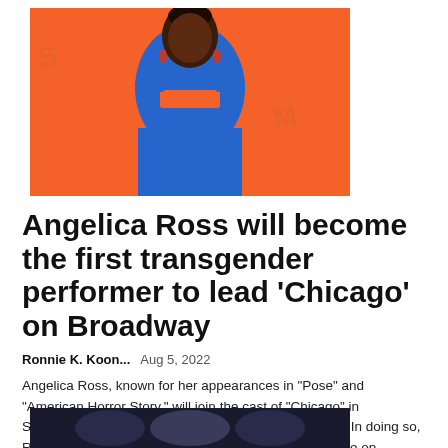[Figure (photo): Woman in blue cutout dress against orange background]
Angelica Ross will become the first transgender performer to lead 'Chicago' on Broadway
Ronnie K. Koon...   Aug 5, 2022
Angelica Ross, known for her appearances in "Pose" and "American Horror Story," will join the cast of "Chicago" in September for her Broadway debut as lead Roxie Hart.In doing so, Ross will be the first transgender woman to play the role on...
[Figure (photo): Partially visible second image at bottom of page]